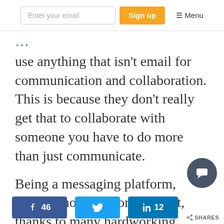Enter your email | Sign up | ☰ Menu
use anything that isn't email for communication and collaboration. This is because they don't really get that to collaborate with someone you have to do more than just communicate.
Being a messaging platform, email is not built for that. But, thanks to many hardworking individuals and teams out there, it's starting to grow.